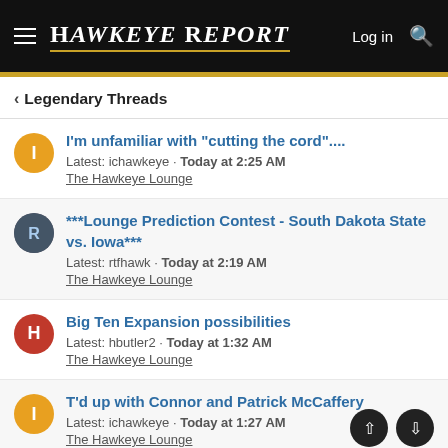Hawkeye Report — Log in
< Legendary Threads
I'm unfamiliar with "cutting the cord".... Latest: ichawkeye · Today at 2:25 AM The Hawkeye Lounge
***Lounge Prediction Contest - South Dakota State vs. Iowa*** Latest: rtfhawk · Today at 2:19 AM The Hawkeye Lounge
Big Ten Expansion possibilities Latest: hbutler2 · Today at 1:32 AM The Hawkeye Lounge
T'd up with Connor and Patrick McCaffery Latest: ichawkeye · Today at 1:27 AM The Hawkeye Lounge